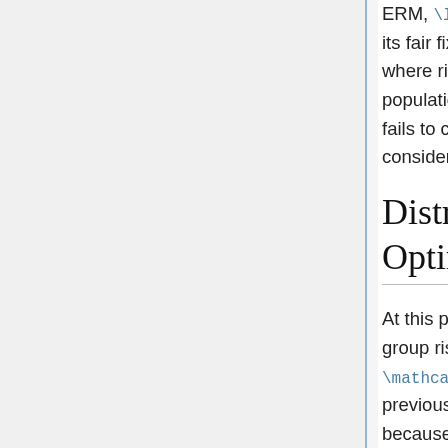ERM, \lambda^{(t)} is unstable because it loses its fair fixed point (i.e. the population fraction where risk minimization maintains the same population fraction over time). Therefore, ERM fails to control minority risk over time, and is considered unfair.
Distributonally Robust Optimization (DRO)
At this point our goal is to minimize the worst-case group risk over a single time-step \mathcal{R}_{max} (\theta^{(t)}) . As previously mentioned, this is difficult to do because neither the population proportions \{\alpha_k\} nor group distributions \{P_k\} are known. Therefore, Hashimoto et al. developed an optimization technique that is robust